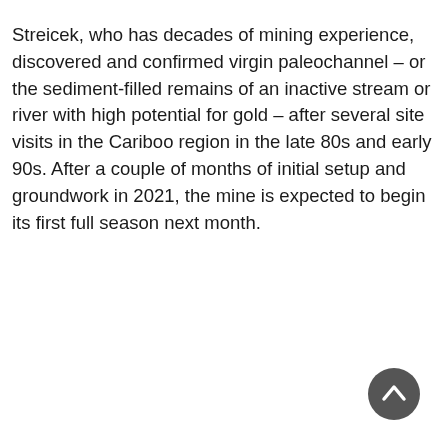Streicek, who has decades of mining experience, discovered and confirmed virgin paleochannel – or the sediment-filled remains of an inactive stream or river with high potential for gold – after several site visits in the Cariboo region in the late 80s and early 90s. After a couple of months of initial setup and groundwork in 2021, the mine is expected to begin its first full season next month.
[Figure (other): A circular dark gray scroll-to-top button with a white upward chevron arrow, positioned in the bottom-right corner of the page.]